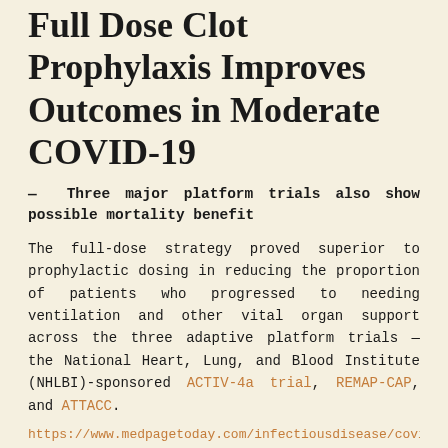Full Dose Clot Prophylaxis Improves Outcomes in Moderate COVID-19
— Three major platform trials also show possible mortality benefit
The full-dose strategy proved superior to prophylactic dosing in reducing the proportion of patients who progressed to needing ventilation and other vital organ support across the three adaptive platform trials — the National Heart, Lung, and Blood Institute (NHLBI)-sponsored ACTIV-4a trial, REMAP-CAP, and ATTACC.
https://www.medpagetoday.com/infectiousdisease/covid19
~ ~ ~
Colchicine:  Gout Drug Reduces